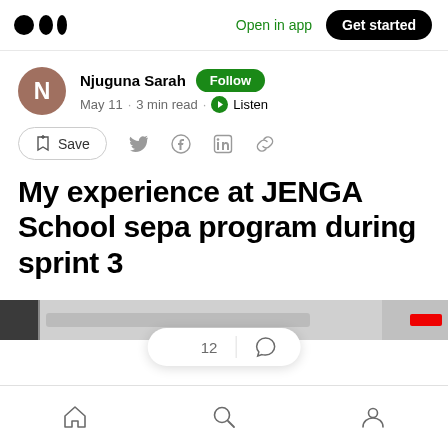Open in app  Get started
Njuguna Sarah  Follow
May 11 · 3 min read · Listen
Save
My experience at JENGA School sepa program during sprint 3
[Figure (screenshot): Screenshot strip of a browser/app interface at bottom of visible content]
Home  Search  Profile